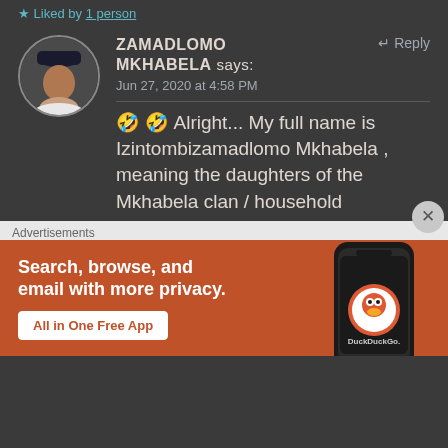★ Liked by 1 person
ZAMADLOMO MKHABELA says: Jun 27, 2020 at 4:58 PM ↵ Reply
🤣 🤣 Alright... My full name is Izintombizamadlomo Mkhabela , meaning the daughters of the Mkhabela clan / household
Advertisements
[Figure (screenshot): DuckDuckGo advertisement banner: orange background, white bold text 'Search, browse, and email with more privacy.' with a white button 'All in One Free App' and a phone showing DuckDuckGo logo on the right side]